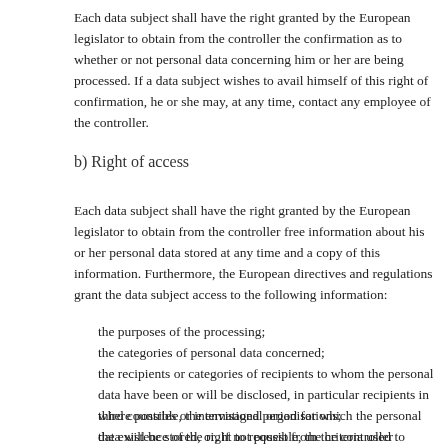Each data subject shall have the right granted by the European legislator to obtain from the controller the confirmation as to whether or not personal data concerning him or her are being processed. If a data subject wishes to avail himself of this right of confirmation, he or she may, at any time, contact any employee of the controller.
b) Right of access
Each data subject shall have the right granted by the European legislator to obtain from the controller free information about his or her personal data stored at any time and a copy of this information. Furthermore, the European directives and regulations grant the data subject access to the following information:
the purposes of the processing;
the categories of personal data concerned;
the recipients or categories of recipients to whom the personal data have been or will be disclosed, in particular recipients in third countries or international organisations;
where possible, the envisaged period for which the personal data will be stored, or, if not possible, the criteria used to determine that period;
the existence of the right to request from the controller rectification or